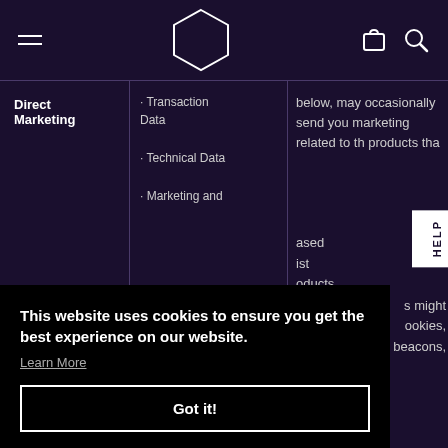Navigation bar with hamburger menu, hexagon logo, cart and search icons
| Purpose/Activity | Type of data | Lawful basis for processing |
| --- | --- | --- |
| Direct Marketing | · Transaction Data
· Technical Data
· Marketing and | below, may occasionally send you marketing related to the products tha... ased ist oducts ased. s might ookies, web beacons, |
This website uses cookies to ensure you get the best experience on our website.
Learn More
Got it!